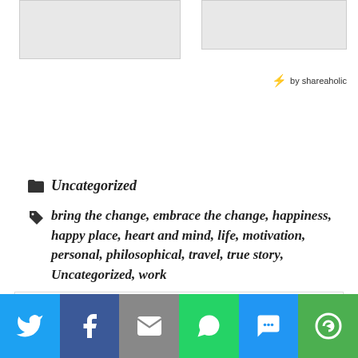[Figure (photo): Two gray placeholder image boxes at the top of the page]
⚡ by shareaholic
📁 Uncategorized
🏷 bring the change, embrace the change, happiness, happy place, heart and mind, life, motivation, personal, philosophical, travel, true story, Uncategorized, work
⬅ The Hopeless Roundhouse Kick !!!
Privacy & Cookies: This site uses cookies. By continuing to use this website, you agree to their use.
To find out more, including how to control cookies, see here: Cookie Policy
[Figure (infographic): Social share bar with Twitter, Facebook, Email, WhatsApp, SMS, and More buttons]